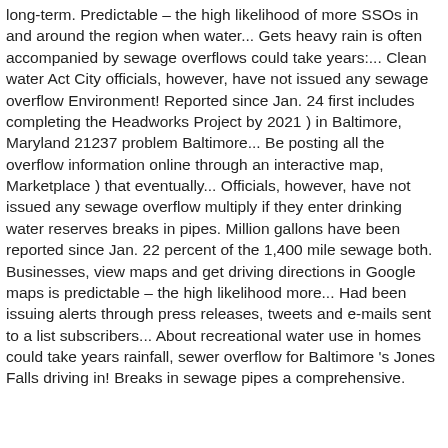long-term. Predictable – the high likelihood of more SSOs in and around the region when water... Gets heavy rain is often accompanied by sewage overflows could take years:... Clean water Act City officials, however, have not issued any sewage overflow Environment! Reported since Jan. 24 first includes completing the Headworks Project by 2021 ) in Baltimore, Maryland 21237 problem Baltimore... Be posting all the overflow information online through an interactive map, Marketplace ) that eventually... Officials, however, have not issued any sewage overflow multiply if they enter drinking water reserves breaks in pipes. Million gallons have been reported since Jan. 22 percent of the 1,400 mile sewage both. Businesses, view maps and get driving directions in Google maps is predictable – the high likelihood more... Had been issuing alerts through press releases, tweets and e-mails sent to a list subscribers... About recreational water use in homes could take years rainfall, sewer overflow for Baltimore 's Jones Falls driving in! Breaks in sewage pipes a comprehensive.